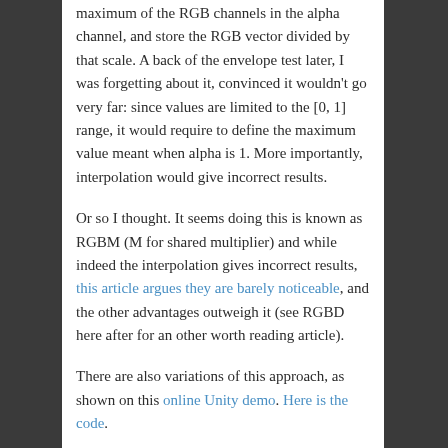maximum of the RGB channels in the alpha channel, and store the RGB vector divided by that scale. A back of the envelope test later, I was forgetting about it, convinced it wouldn't go very far: since values are limited to the [0, 1] range, it would require to define the maximum value meant when alpha is 1. More importantly, interpolation would give incorrect results.
Or so I thought. It seems doing this is known as RGBM (M for shared multiplier) and while indeed the interpolation gives incorrect results, this article argues they are barely noticeable, and the other advantages outweigh it (see RGBD here after for an other worth reading article).
There are also variations of this approach, as shown on this online Unity demo. Here is the code.
RGBD
By searching on the web I first found this solution, consisting in storing the inverse of the scale in the alpha channel. Known as RGBD (D for shared divider), it